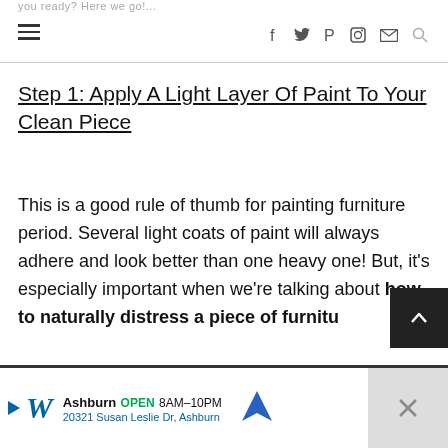you ready? Here we go!...
Step 1: Apply A Light Layer Of Paint To Your Clean Piece
This is a good rule of thumb for painting furniture period. Several light coats of paint will always adhere and look better than one heavy one! But, it's especially important when we're talking about how to naturally distress a piece of furnitu...
Ashburn OPEN 8AM–10PM 20321 Susan Leslie Dr, Ashburn